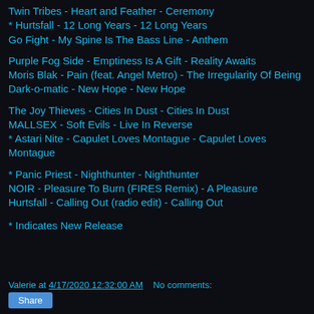Twin Tribes - Heart and Feather - Ceremony
* Hurtsfall - 12 Long Years - 12 Long Years
Go Fight - My Spine Is The Bass Line - Anthem
Purple Fog Side - Emptiness Is A Gift - Reality Awaits
Moris Blak - Pain (feat. Angel Metro) - The Irregularity Of Being
Dark-o-matic - New Hope - New Hope
The Joy Thieves - Cities In Dust - Cities In Dust
MALLSEX - Soft Evils - Live In Reverse
* Astari Nite - Capulet Loves Montague - Capulet Loves Montague
* Panic Priest - Nighthunter - Nighthunter
NOIR - Pleasure To Burn (FIRES Remix) - A Pleasure
Hurtsfall - Calling Out (radio edit) - Calling Out
* Indicates New Release
Valerie at 4/17/2020 12:32:00 AM    No comments: